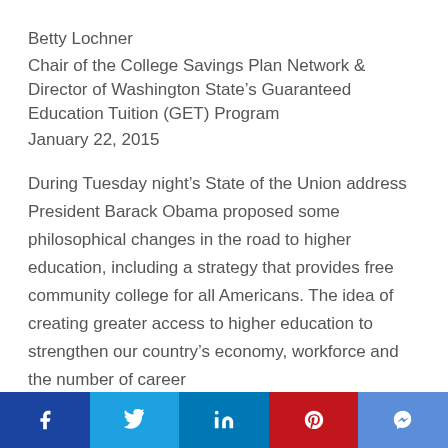Betty Lochner
Chair of the College Savings Plan Network & Director of Washington State's Guaranteed Education Tuition (GET) Program
January 22, 2015
During Tuesday night's State of the Union address President Barack Obama proposed some philosophical changes in the road to higher education, including a strategy that provides free community college for all Americans. The idea of creating greater access to higher education to strengthen our country's economy, workforce and the number of career